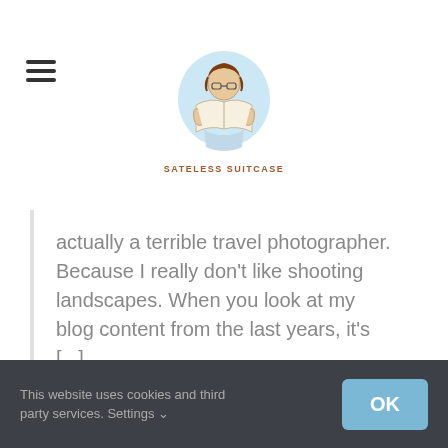[Figure (logo): Sateless Suitcase blog logo: cartoon figure reading a book inside a light blue circular background, with text 'SATELESS SUITCASE' below]
actually a terrible travel photographer. Because I really don't like shooting landscapes. When you look at my blog content from the last years, it's [...]
Read More >
2
This website uses cookies and third party services. Settings ∨